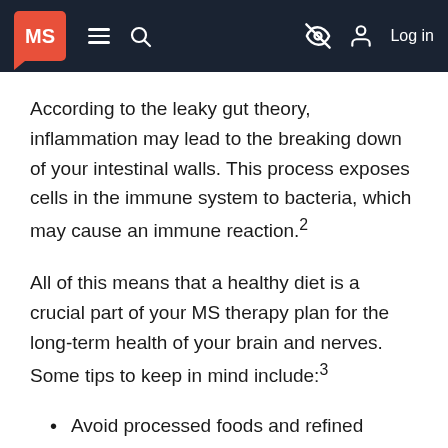MS [logo] | navigation bar with hamburger, search, eye-off icon, Log in
According to the leaky gut theory, inflammation may lead to the breaking down of your intestinal walls. This process exposes cells in the immune system to bacteria, which may cause an immune reaction.²
All of this means that a healthy diet is a crucial part of your MS therapy plan for the long-term health of your brain and nerves. Some tips to keep in mind include:³
Avoid processed foods and refined sugars.